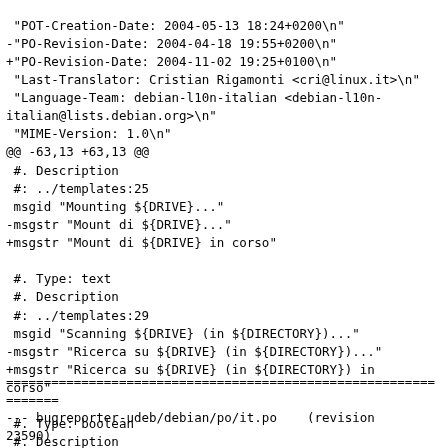"POT-Creation-Date: 2004-05-13 18:24+0200\n"
-"PO-Revision-Date: 2004-04-18 19:55+0200\n"
+"PO-Revision-Date: 2004-11-02 19:25+0100\n"
 "Last-Translator: Cristian Rigamonti <cri@linux.it>\n"
 "Language-Team: debian-l10n-italian <debian-l10n-italian@lists.debian.org>\n"
 "MIME-Version: 1.0\n"
@@ -63,13 +63,13 @@
 #. Description
 #: ../templates:25
 msgid "Mounting ${DRIVE}..."
-msgstr "Mount di ${DRIVE}..."
+msgstr "Mount di ${DRIVE} in corso"

 #. Type: text
 #. Description
 #: ../templates:29
 msgid "Scanning ${DRIVE} (in ${DIRECTORY})..."
-msgstr "Ricerca su ${DRIVE} (in ${DIRECTORY})..."
+msgstr "Ricerca su ${DRIVE} (in ${DIRECTORY}) in
corso"

 #. Type: boolean
 #. Description
Index: bugreporter-udeb/debian/po/it.po
================================================================
--- bugreporter-udeb/debian/po/it.po    (revision 23590)
+++ bugreporter-udeb/debian/po/it.po    (working copy)
@@ -6,7 +6,7 @@